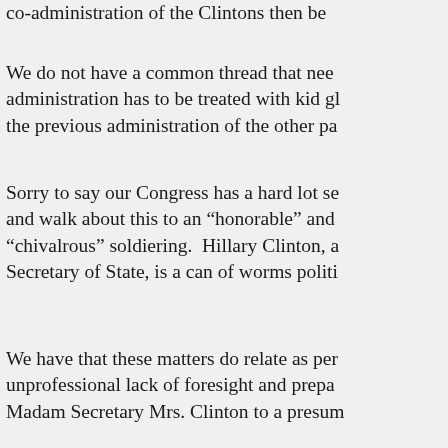co-administration of the Clintons then be...
We do not have a common thread that need... administration has to be treated with kid g... the previous administration of the other pa...
Sorry to say our Congress has a hard lot se... and walk about this to an “honorable” and... “chivalrous” soldiering. Hillary Clinton, a... Secretary of State, is a can of worms politi...
We have that these matters do relate as per... unprofessional lack of foresight and prepa... Madam Secretary Mrs. Clinton to a presum... despite her past flip flopping as per Operat... as stumbling after she had been to “voting’... read the related “intelligence reports.”
With anticipation building for a great Polit... DOWN” of a seemingly grossly negligent... the Administration of Barack Hussein Oba...
We have that these matters do relate at leas... know - when did she know it” queriousnes... crusading days as FLOTUS Clinton and so... Administration of the Clintons.